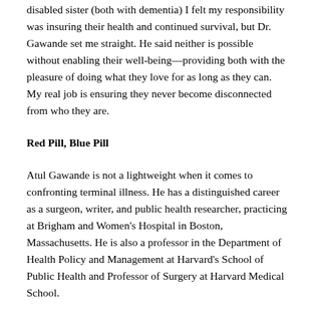disabled sister (both with dementia) I felt my responsibility was insuring their health and continued survival, but Dr. Gawande set me straight. He said neither is possible without enabling their well-being—providing both with the pleasure of doing what they love for as long as they can. My real job is ensuring they never become disconnected from who they are.
Red Pill, Blue Pill
Atul Gawande is not a lightweight when it comes to confronting terminal illness. He has a distinguished career as a surgeon, writer, and public health researcher, practicing at Brigham and Women's Hospital in Boston, Massachusetts. He is also a professor in the Department of Health Policy and Management at Harvard's School of Public Health and Professor of Surgery at Harvard Medical School.
He has revolutionized how a doctor should tell a patient they are dying and determine the next steps.  His format is a simple but difficult conversation: